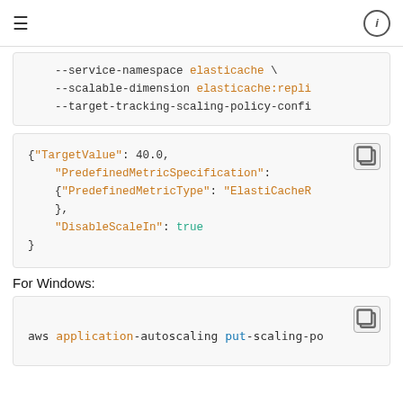--service-namespace elasticache \
    --scalable-dimension elasticache:repli
    --target-tracking-scaling-policy-confi
{"TargetValue": 40.0,
    "PredefinedMetricSpecification":
    {"PredefinedMetricType": "ElastiCacheR
    },
    "DisableScaleIn": true
}
For Windows:
aws application-autoscaling put-scaling-po